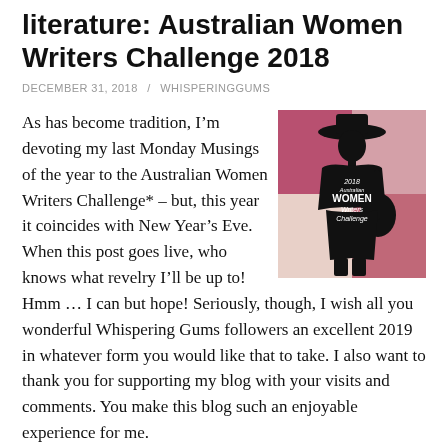literature: Australian Women Writers Challenge 2018
DECEMBER 31, 2018 / WHISPERINGGUMS
[Figure (illustration): Australian Women Writers Challenge 2018 badge: silhouette of a woman with a hat against a pink, red and cream background with text '2018 Australian WOMEN Writers Challenge']
As has become tradition, I’m devoting my last Monday Musings of the year to the Australian Women Writers Challenge* – but, this year it coincides with New Year’s Eve. When this post goes live, who knows what revelry I’ll be up to! Hmm … I can but hope! Seriously, though, I wish all you wonderful Whispering Gums followers an excellent 2019 in whatever form you would like that to take. I also want to thank you for supporting my blog with your visits and comments. You make this blog such an enjoyable experience for me.